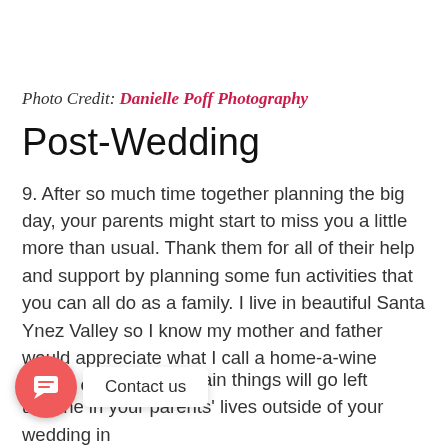Photo Credit: Danielle Poff Photography
Post-Wedding
9. After so much time together planning the big day, your parents might start to miss you a little more than usual. Thank them for all of their help and support by planning some fun activities that you can all do as a family. I live in beautiful Santa Ynez Valley so I know my mother and father would appreciate what I call a home-a-wine mixing class!
10. hat certain things will go left undone in your parents' lives outside of your wedding in the...